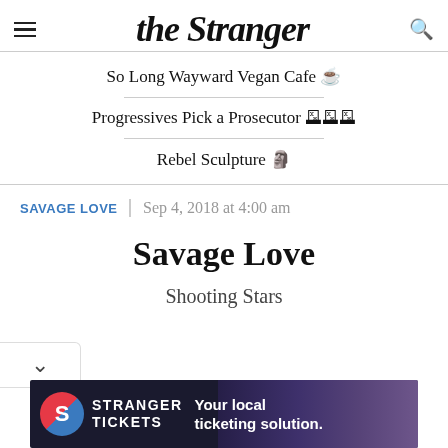the Stranger
So Long Wayward Vegan Cafe ☕
Progressives Pick a Prosecutor 🗳️
Rebel Sculpture 🗿
SAVAGE LOVE | Sep 4, 2018 at 4:00 am
Savage Love
Shooting Stars
[Figure (screenshot): Stranger Tickets advertisement banner: logo with S, text 'STRANGER TICKETS', tagline 'Your local ticketing solution.' overlaid on concert photo]